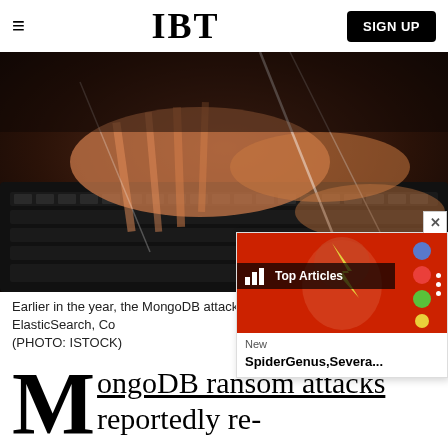IBT | SIGN UP
[Figure (photo): Close-up photo of hands typing rapidly on a keyboard with motion blur, dark background.]
Earlier in the year, the MongoDB attacks technologies, including ElasticSearch, Co (PHOTO: ISTOCK)
MongoDB ransom attacks reportedly re-